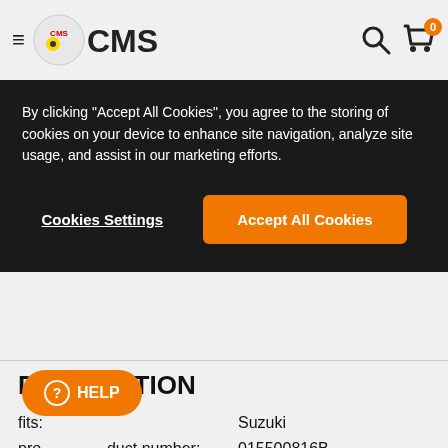CMS
By clicking "Accept All Cookies", you agree to the storing of cookies on your device to enhance site navigation, analyze site usage, and assist in our marketing efforts.
Cookies Settings | Accept All Cookies
DESCRIPTION
fits:
Suzuki
product number:
015500816B
CMS product number:
SU0001.6590
Footnote suffers over time with both general wear & tear